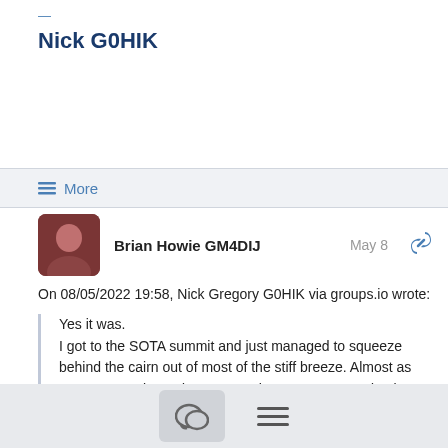Nick G0HIK
≡ More
Brian Howie GM4DIJ   May 8
On 08/05/2022 19:58, Nick Gregory G0HIK via groups.io wrote:
Yes it was.
I got to the SOTA summit and just managed to squeeze behind the cairn out of most of the stiff breeze. Almost as soon as I got logged on to KST the meeps seemed to keep coming. I hope I didn't miss anyone who called me. Unfortunately the 22dBi horn does not cut the mustard